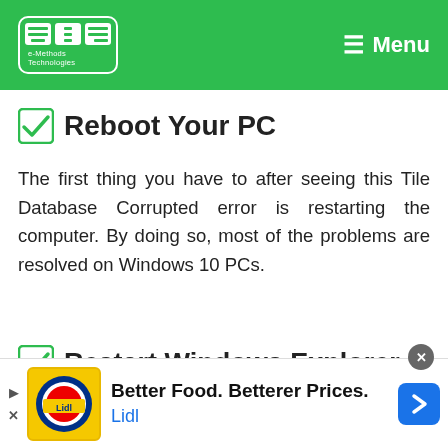[Figure (logo): e-Methods Technologies logo in green navbar with white EMT icon and hamburger menu]
Reboot Your PC
The first thing you have to after seeing this Tile Database Corrupted error is restarting the computer. By doing so, most of the problems are resolved on Windows 10 PCs.
Restart Windows Explorer
[Figure (screenshot): Lidl advertisement banner: Better Food. Betterer Prices. Lidl]